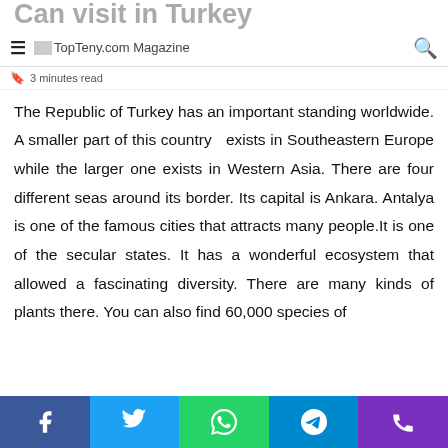Can visit in Turkey
TopTeny.com Magazine
3 minutes read
The Republic of Turkey has an important standing worldwide. A smaller part of this country  exists in Southeastern Europe while the larger one exists in Western Asia. There are four different seas around its border. Its capital is Ankara. Antalya is one of the famous cities that attracts many people.It is one of the secular states. It has a wonderful ecosystem that allowed a fascinating diversity. There are many kinds of plants there. You can also find 60,000 species of